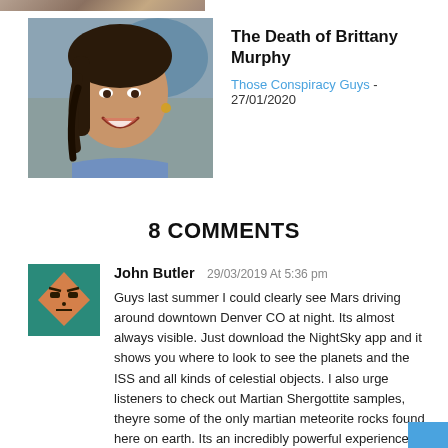[Figure (photo): Partial image strip at top of page showing a dark/brown blurred image]
[Figure (photo): Thumbnail photo of Brittany Murphy smiling, with braided hair, outdoor background]
The Death of Brittany Murphy
Those Conspiracy Guys - 27/01/2020
8 COMMENTS
[Figure (illustration): User avatar: teal/green square with cartoon face icon (orange triangle/diamond shape with simple facial features)]
John Butler 29/03/2019 At 5:36 pm
Guys last summer I could clearly see Mars driving around downtown Denver CO at night. Its almost always visible. Just download the NightSky app and it shows you where to look to see the planets and the ISS and all kinds of celestial objects. I also urge listeners to check out Martian Shergottite samples, theyre some of the only martian meteorite rocks found here on earth. Its an incredibly powerful experience holding a sample in your hand! Cheers!